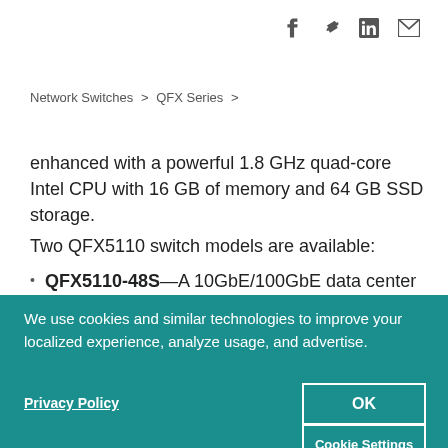f  𝕏  in  ✉
Network Switches > QFX Series >
enhanced with a powerful 1.8 GHz quad-core Intel CPU with 16 GB of memory and 64 GB SSD storage.
Two QFX5110 switch models are available:
QFX5110-48S—A 10GbE/100GbE data center access
We use cookies and similar technologies to improve your localized experience, analyze usage, and advertise.
Privacy Policy
OK
Cookie Settings